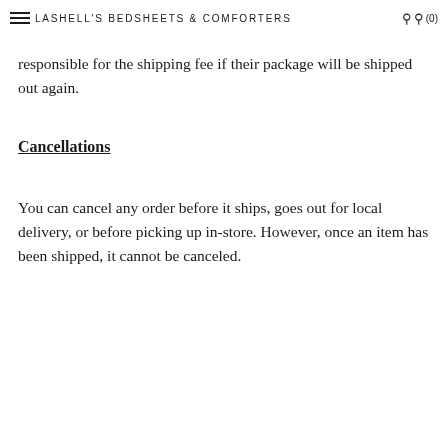LASHELL'S BEDSHEETS & COMFORTERS (0)
responsible for the shipping fee if their package will be shipped out again.
Cancellations
You can cancel any order before it ships, goes out for local delivery, or before picking up in-store. However, once an item has been shipped, it cannot be canceled.